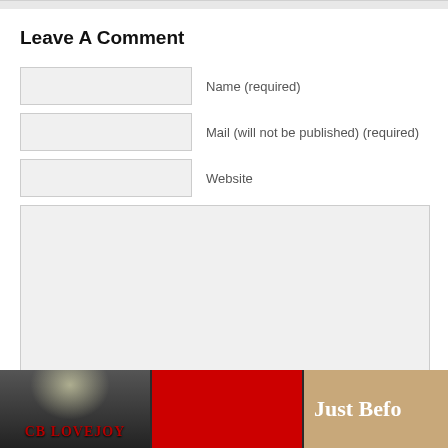Leave A Comment
Name (required)
Mail (will not be published) (required)
Website
[Figure (screenshot): Large comment textarea input field]
[Figure (screenshot): Submit Comment button]
[Figure (infographic): Dark footer bar with three banner images: CB Lovejoy on dark background, a red rectangle, and a tan/beige banner with text 'Just Befo']